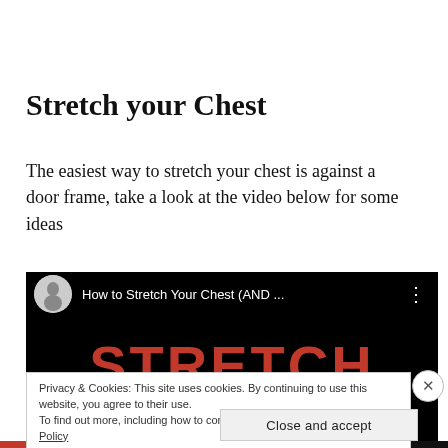Stretch your Chest
The easiest way to stretch your chest is against a door frame, take a look at the video below for some ideas
[Figure (screenshot): YouTube video thumbnail showing 'How to Stretch Your Chest (AND ...' with a channel avatar of a muscular man, black background, and large red text reading 'STRETCH THESE']
Privacy & Cookies: This site uses cookies. By continuing to use this website, you agree to their use.
To find out more, including how to control cookies, see here: Cookie Policy
Close and accept